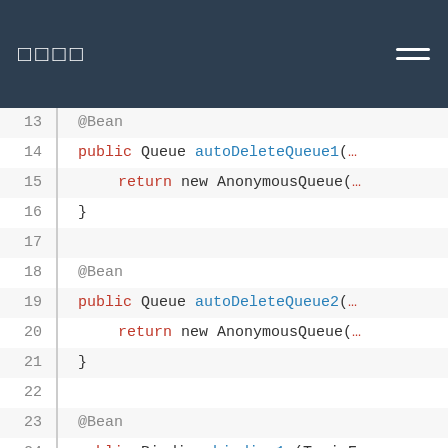□□□□
[Figure (screenshot): Java code snippet showing Spring Bean definitions with autoDeleteQueue1, autoDeleteQueue2, binding1a, and binding2a methods using @Bean annotations, Queue, AnonymousQueue, Binding, BindingBuilder, TopicExchange references.]